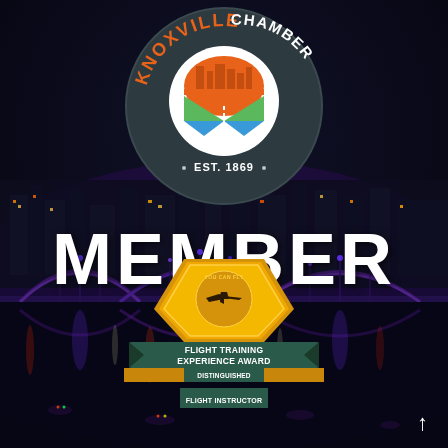[Figure (photo): Night cityscape with illuminated bridge over river with colorful reflections, Knoxville TN]
[Figure (logo): Knoxville Chamber logo — circular dark badge with orange text KNOXVILLE CHAMBER, orange city skyline, green and blue road/path intersection graphic, white text EST. 1869]
MEMBER
[Figure (logo): Flight Training Experience Award badge — yellow/gold hexagon shape with airplane silhouette and YOU CAN FLY text, below it dark teal banner reading FLIGHT TRAINING EXPERIENCE AWARD, and smaller banner reading DISTINGUISHED FLIGHT INSTRUCTOR]